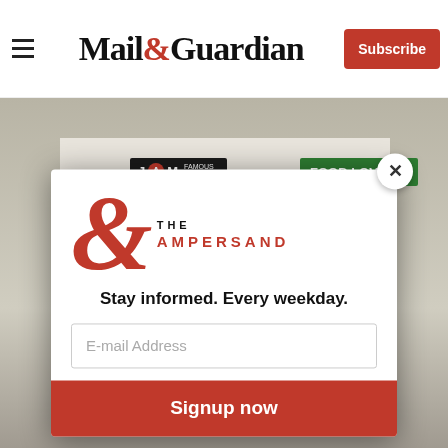Mail&Guardian | Subscribe
[Figure (photo): Street-level photo of retail stores including JAM Famous For Less and Food Lover's Market signage]
[Figure (logo): The Ampersand newsletter logo — large red ampersand symbol with text THE AMPERSAND]
Stay informed. Every weekday.
E-mail Address
Signup now